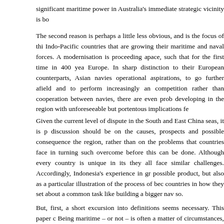significant maritime power in Australia's immediate strategic vicinity is bo
The second reason is perhaps a little less obvious, and is the focus of thi Indo-Pacific countries that are growing their maritime and naval forces. A modernisation is proceeding apace, such that for the first time in 400 yea Europe. In sharp distinction to their European counterparts, Asian navies operational aspirations, to go further afield and to perform increasingly an competition rather than cooperation between navies, there are even prob developing in the region with unforeseeable but portentous implications fe
Given the current level of dispute in the South and East China seas, it is p discussion should be on the causes, prospects and possible consequence the region, rather than on the problems that countries face in turning such overcome before this can be done. Although every country is unique in its they all face similar challenges. Accordingly, Indonesia's experience in gr possible product, but also as a particular illustration of the process of bec countries in how they set about a common task like building a bigger nav so.
But, first, a short excursion into definitions seems necessary. This paper c Being maritime – or not – is often a matter of circumstances, something o